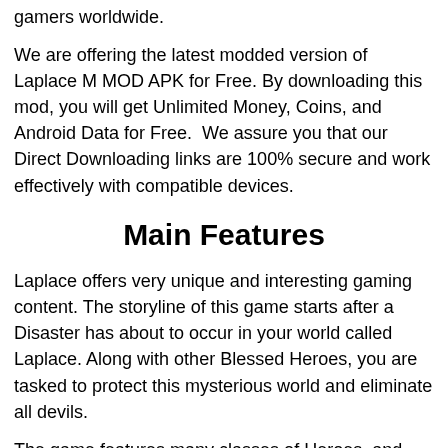gamers worldwide.
We are offering the latest modded version of Laplace M MOD APK for Free. By downloading this mod, you will get Unlimited Money, Coins, and Android Data for Free.  We assure you that our Direct Downloading links are 100% secure and work effectively with compatible devices.
Main Features
Laplace offers very unique and interesting gaming content. The storyline of this game starts after a Disaster has about to occur in your world called Laplace. Along with other Blessed Heroes, you are tasked to protect this mysterious world and eliminate all devils.
The game features many classes of Heroes, and you can pick your favorite character from the lobby. You can select Warrior, Mage, Cleric, or Assassin to continue your journey in this game. Feel free to explore in-depth locations on M[tooltip icon]